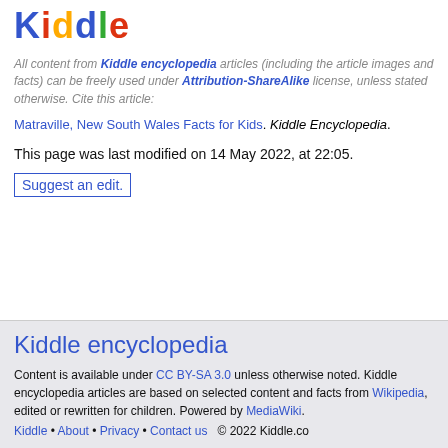[Figure (logo): Kiddle logo with multicolored letters: K(blue), i(red), d(yellow), d(blue), l(green), e(red)]
All content from Kiddle encyclopedia articles (including the article images and facts) can be freely used under Attribution-ShareAlike license, unless stated otherwise. Cite this article:
Matraville, New South Wales Facts for Kids. Kiddle Encyclopedia.
This page was last modified on 14 May 2022, at 22:05.
Suggest an edit.
Kiddle encyclopedia
Content is available under CC BY-SA 3.0 unless otherwise noted. Kiddle encyclopedia articles are based on selected content and facts from Wikipedia, edited or rewritten for children. Powered by MediaWiki.
Kiddle • About • Privacy • Contact us   © 2022 Kiddle.co